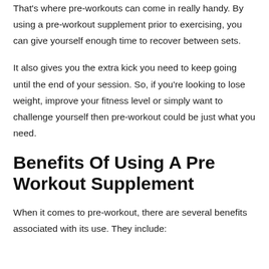That's where pre-workouts can come in really handy. By using a pre-workout supplement prior to exercising, you can give yourself enough time to recover between sets.
It also gives you the extra kick you need to keep going until the end of your session. So, if you're looking to lose weight, improve your fitness level or simply want to challenge yourself then pre-workout could be just what you need.
Benefits Of Using A Pre Workout Supplement
When it comes to pre-workout, there are several benefits associated with its use. They include: